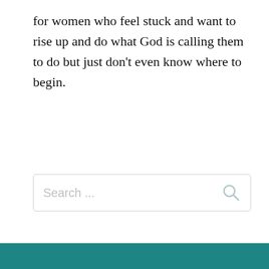for women who feel stuck and want to rise up and do what God is calling them to do but just don't even know where to begin.
[Figure (screenshot): Search input box with placeholder text 'Search ...' and a search icon on the right]
[Figure (screenshot): Cookie consent banner overlay with teal background. Contains close (×) button, ghost text 'Recent Posts', main text 'This website uses cookies to ensure you get the best experience on our website.', 'Learn more' link, partial 'she leads church...' text, Decline button (dark teal), Accept button (red), and 'Search by Category' text at bottom.]